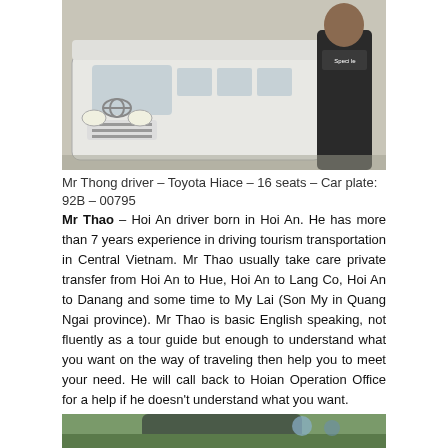[Figure (photo): Photo of Mr Thong driver standing in front of a white Toyota Hiace 16-seat van]
Mr Thong driver – Toyota Hiace – 16 seats – Car plate: 92B – 00795
Mr Thao – Hoi An driver born in Hoi An. He has more than 7 years experience in driving tourism transportation in Central Vietnam. Mr Thao usually take care private transfer from Hoi An to Hue, Hoi An to Lang Co, Hoi An to Danang and some time to My Lai (Son My in Quang Ngai province). Mr Thao is basic English speaking, not fluently as a tour guide but enough to understand what you want on the way of traveling then help you to meet your need. He will call back to Hoian Operation Office for a help if he doesn't understand what you want.
[Figure (photo): Partial photo of a vehicle in an outdoor green setting]